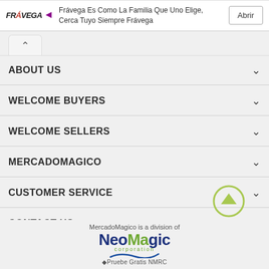[Figure (other): Frávega advertisement banner with logo, tagline text, and Abrir button]
ABOUT US
WELCOME BUYERS
WELCOME SELLERS
MERCADOMAGICO
CUSTOMER SERVICE
CONTACT US
[Figure (other): Green circle with upward arrow scroll-to-top button]
MercadoMagico is a division of
[Figure (logo): NeoMagic corporation logo with blue text and green wave]